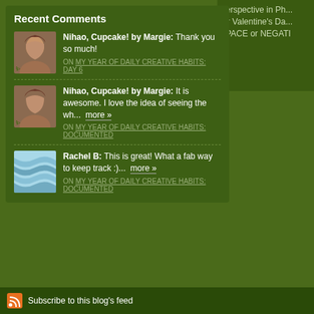Recent Comments
Nihao, Cupcake! by Margie: Thank you so much!
ON MY YEAR OF DAILY CREATIVE HABITS: DAY 6
Nihao, Cupcake! by Margie: It is awesome. I love the idea of seeing the wh... more »
ON MY YEAR OF DAILY CREATIVE HABITS: DOCUMENTED
Rachel B: This is great! What a fab way to keep track :)... more »
ON MY YEAR OF DAILY CREATIVE HABITS: DOCUMENTED
Perspective in Ph... for Valentine's Da... SPACE or NEGATI
Subscribe to this blog's feed